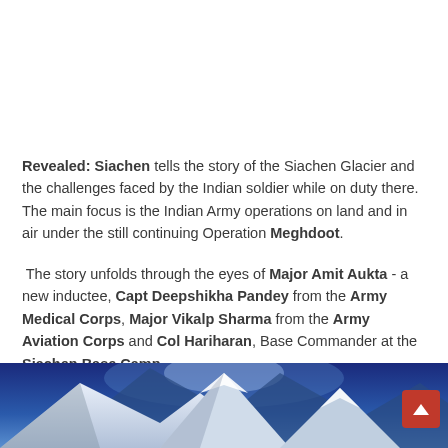Revealed: Siachen tells the story of the Siachen Glacier and the challenges faced by the Indian soldier while on duty there. The main focus is the Indian Army operations on land and in air under the still continuing Operation Meghdoot.
The story unfolds through the eyes of Major Amit Aukta - a new inductee, Capt Deepshikha Pandey from the Army Medical Corps, Major Vikalp Sharma from the Army Aviation Corps and Col Hariharan, Base Commander at the Siachen Base Camp.
[Figure (photo): Snow-covered mountain peaks against a deep blue sky, partially visible at the bottom of the page]